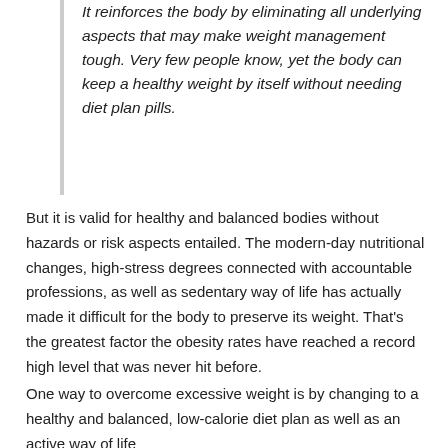It reinforces the body by eliminating all underlying aspects that may make weight management tough. Very few people know, yet the body can keep a healthy weight by itself without needing diet plan pills.
But it is valid for healthy and balanced bodies without hazards or risk aspects entailed. The modern-day nutritional changes, high-stress degrees connected with accountable professions, as well as sedentary way of life has actually made it difficult for the body to preserve its weight. That's the greatest factor the obesity rates have reached a record high level that was never hit before.
One way to overcome excessive weight is by changing to a healthy and balanced, low-calorie diet plan as well as an active way of life